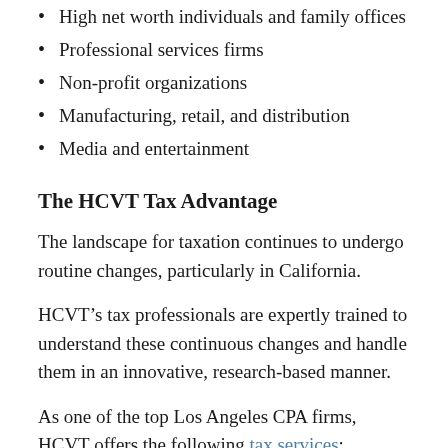High net worth individuals and family offices
Professional services firms
Non-profit organizations
Manufacturing, retail, and distribution
Media and entertainment
The HCVT Tax Advantage
The landscape for taxation continues to undergo routine changes, particularly in California.
HCVT’s tax professionals are expertly trained to understand these continuous changes and handle them in an innovative, research-based manner.
As one of the top Los Angeles CPA firms, HCVT offers the following tax services:
Tax auditing questions